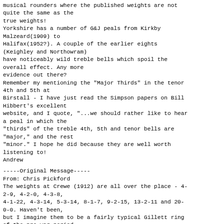musical rounders where the published weights are not quite the same as the true weights!
Yorkshire has a number of G&J peals from Kirkby Malzeard(1909) to
Halifax(1952?). A couple of the earlier eights (Keighley and Northowram)
have noticeably wild treble bells which spoil the overall effect. Any more
evidence out there?
Remember my mentioning the "Major Thirds" in the tenor 4th and 5th at
Birstall - I have just read the Simpson papers on Bill Hibbert's excellent
website, and I quote, "...we should rather like to hear a peal in which the
"thirds" of the treble 4th, 5th and tenor bells are "major," and the rest
"minor." I hope he did because they are well worth listening to!
Andrew
-----Original Message-----
From: Chris Pickford
The weights at Crewe (1912) are all over the place - 4-2-9, 4-2-0, 4-3-8,
4-1-22, 4-3-14, 5-3-14, 8-1-7, 9-2-15, 13-2-11 and 20-0-0. Haven't been,
but I imagine them to be a fairly typical Gillett ring of the pre-war period
and "not quite right".